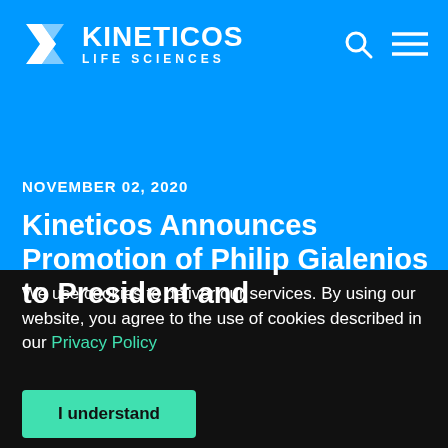KINETICOS LIFE SCIENCES
NOVEMBER 02, 2020
Kineticos Announces Promotion of Philip Gialenios to President and
We use cookies to deliver our services. By using our website, you agree to the use of cookies described in our Privacy Policy
I understand